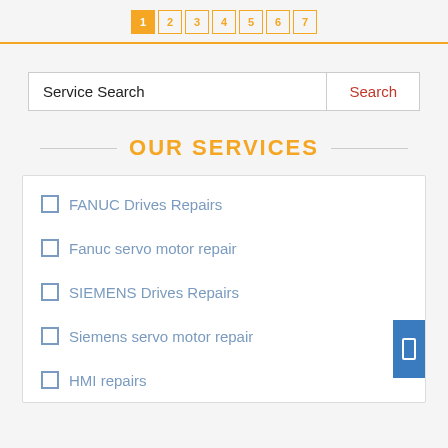1 2 3 4 5 6 7
Service Search  Search
OUR SERVICES
FANUC Drives Repairs
Fanuc servo motor repair
SIEMENS Drives Repairs
Siemens servo motor repair
HMI repairs